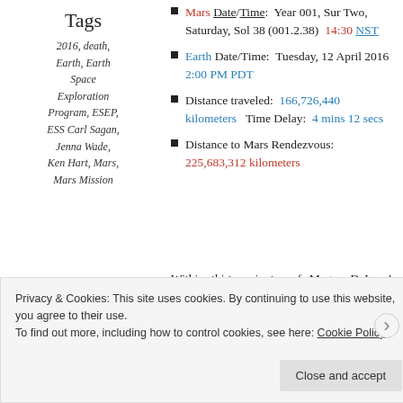Tags
2016, death, Earth, Earth Space Exploration Program, ESEP, ESS Carl Sagan, Jenna Wade, Ken Hart, Mars, Mars Mission
Mars Date/Time: Year 001, Sur Two, Saturday, Sol 38 (001.2.38) 14:30 NST
Earth Date/Time: Tuesday, 12 April 2016  2:00 PM PDT
Distance traveled: 166,726,440 kilometers  Time Delay: 4 mins 12 secs
Distance to Mars Rendezvous: 225,683,312 kilometers
Within thirty minutes of Megan DeLuca's arrival, Santa Clara Valley Medical Center was filled with ESEP Security and San Jose Police. Megan had three layers of
Privacy & Cookies: This site uses cookies. By continuing to use this website, you agree to their use. To find out more, including how to control cookies, see here: Cookie Policy